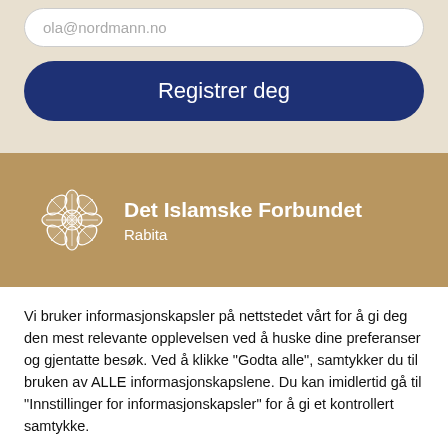ola@nordmann.no
Registrer deg
[Figure (logo): Det Islamske Forbundet Rabita logo with white geometric floral pattern on gold background]
Vi bruker informasjonskapsler på nettstedet vårt for å gi deg den mest relevante opplevelsen ved å huske dine preferanser og gjentatte besøk. Ved å klikke "Godta alle", samtykker du til bruken av ALLE informasjonskapslene. Du kan imidlertid gå til "Innstillinger for informasjonskapsler" for å gi et kontrollert samtykke.
Cookie innstillinger
Godta alle